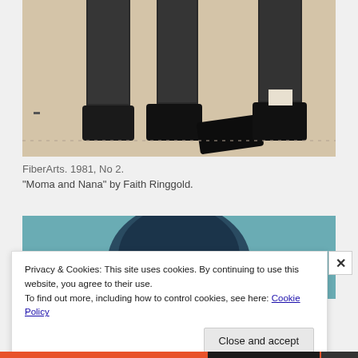[Figure (photo): Black and white photograph showing the lower legs and feet of two or three figures wearing dark stockings and block-heeled shoes, standing on a light surface.]
FiberArts. 1981, No 2.
“Moma and Nana” by Faith Ringgold.
[Figure (photo): Partial view of a blue-toned artwork or illustration, showing what appears to be a rounded dark shape against a teal/blue background.]
Privacy & Cookies: This site uses cookies. By continuing to use this website, you agree to their use.
To find out more, including how to control cookies, see here: Cookie Policy